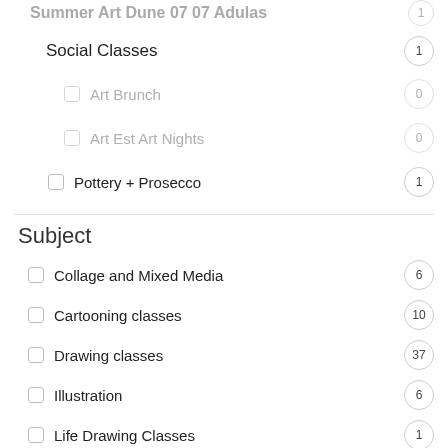Social Classes 1
Art Brunch 0
Art Est Art Nights 0
Pottery + Prosecco 1
Subject
Collage and Mixed Media 6
Cartooning classes 10
Drawing classes 37
Illustration 6
Life Drawing Classes 1
Painting classes 88